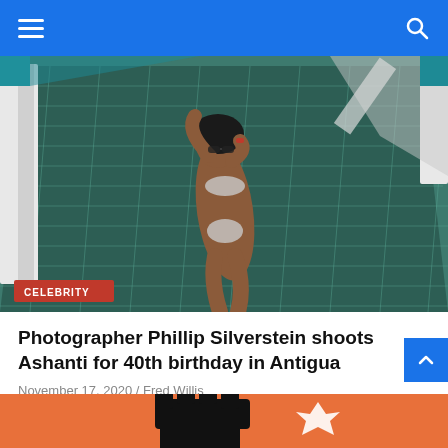Navigation bar with hamburger menu and search icon
[Figure (photo): Aerial view of a woman in a silver bikini lying on a yacht net over teal water, eating something red, wearing sunglasses. A red CELEBRITY badge overlays the bottom-left of the image.]
Photographer Phillip Silverstein shoots Ashanti for 40th birthday in Antigua
November 17, 2020 / Fred Willis
[Figure (illustration): Partial view of a second article card showing a black raised fist silhouette on an orange/tan background.]